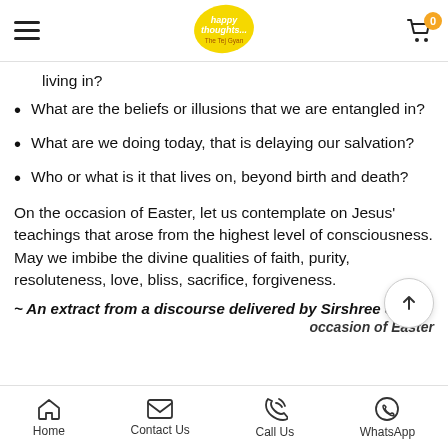happy thoughts... The Tej Gyan — navigation header with hamburger menu and cart
living in?
What are the beliefs or illusions that we are entangled in?
What are we doing today, that is delaying our salvation?
Who or what is it that lives on, beyond birth and death?
On the occasion of Easter, let us contemplate on Jesus' teachings that arose from the highest level of consciousness. May we imbibe the divine qualities of faith, purity, resoluteness, love, bliss, sacrifice, forgiveness.
~ An extract from a discourse delivered by Sirshree on the occasion of Easter
Home | Contact Us | Call Us | WhatsApp